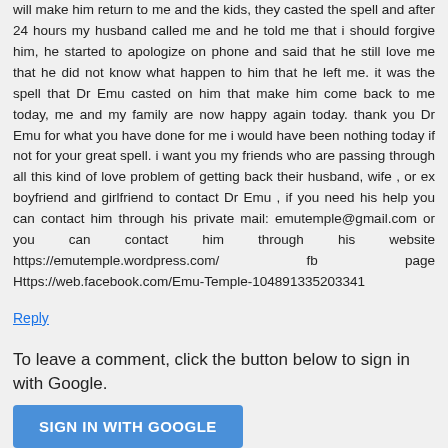will make him return to me and the kids, they casted the spell and after 24 hours my husband called me and he told me that i should forgive him, he started to apologize on phone and said that he still love me that he did not know what happen to him that he left me. it was the spell that Dr Emu casted on him that make him come back to me today, me and my family are now happy again today. thank you Dr Emu for what you have done for me i would have been nothing today if not for your great spell. i want you my friends who are passing through all this kind of love problem of getting back their husband, wife , or ex boyfriend and girlfriend to contact Dr Emu , if you need his help you can contact him through his private mail: emutemple@gmail.com or you can contact him through his website https://emutemple.wordpress.com/ fb page Https://web.facebook.com/Emu-Temple-104891335203341
Reply
To leave a comment, click the button below to sign in with Google.
SIGN IN WITH GOOGLE